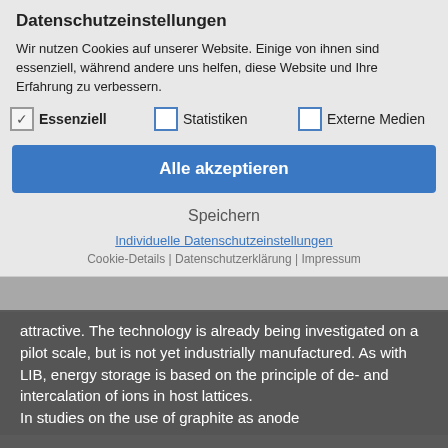Datenschutzeinstellungen
Wir nutzen Cookies auf unserer Website. Einige von ihnen sind essenziell, während andere uns helfen, diese Website und Ihre Erfahrung zu verbessern.
Essenziell (checked), Statistiken (unchecked), Externe Medien (unchecked)
Alle akzeptieren
Speichern
Individuelle Datenschutzeinstellungen
Cookie-Details | Datenschutzerklärung | Impressum
attractive. The technology is already being investigated on a pilot scale, but is not yet industrially manufactured. As with LIB, energy storage is based on the principle of de- and intercalation of ions in host lattices.
In studies on the use of graphite as anode